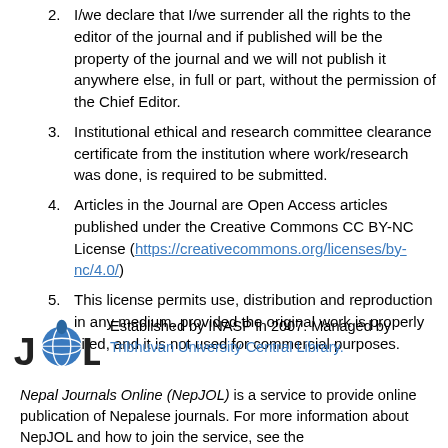2. I/we declare that I/we surrender all the rights to the editor of the journal and if published will be the property of the journal and we will not publish it anywhere else, in full or part, without the permission of the Chief Editor.
3. Institutional ethical and research committee clearance certificate from the institution where work/research was done, is required to be submitted.
4. Articles in the Journal are Open Access articles published under the Creative Commons CC BY-NC License (https://creativecommons.org/licenses/by-nc/4.0/)
5. This license permits use, distribution and reproduction in any medium, provided the original work is properly cited, and it is not used for commercial purposes.
Established by INASP in 2007. Managed by Tribhuvan University Central Library. Nepal Journals Online (NepJOL) is a service to provide online publication of Nepalese journals. For more information about NepJOL and how to join the service, see the